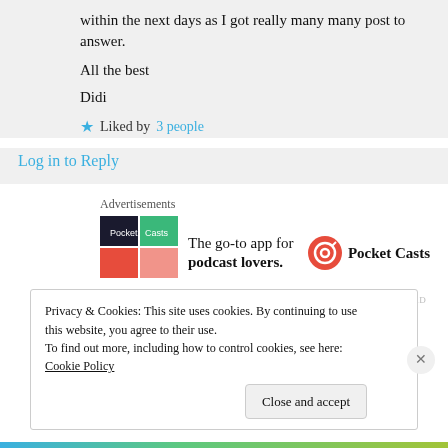within the next days as I got really many many post to answer.

All the best
Didi
Liked by 3 people
Log in to Reply
Advertisements
[Figure (logo): Pocket Casts app advertisement with colorful grid logo and text: The go-to app for podcast lovers.]
REPORT THIS AD
Privacy & Cookies: This site uses cookies. By continuing to use this website, you agree to their use.
To find out more, including how to control cookies, see here: Cookie Policy
Close and accept